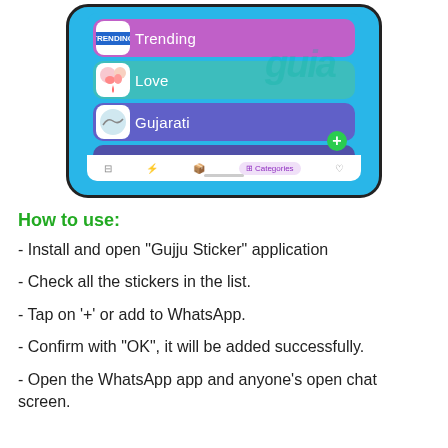[Figure (screenshot): Screenshot of Gujju Sticker mobile app showing categories: Trending (purple), Love (teal), Gujarati (purple/blue), with a green + button, bottom navigation bar with Categories tab highlighted.]
How to use:
- Install and open "Gujju Sticker" application
- Check all the stickers in the list.
- Tap on '+' or add to WhatsApp.
- Confirm with "OK", it will be added successfully.
- Open the WhatsApp app and anyone's open chat screen.